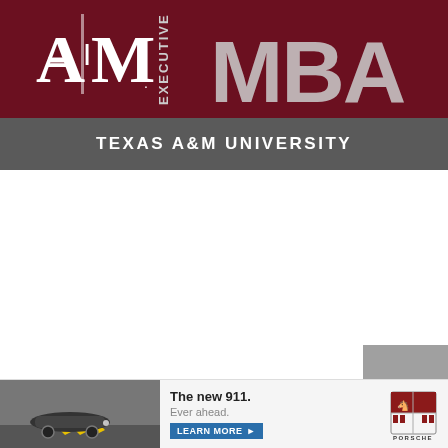[Figure (logo): Texas A&M University Executive MBA banner logo — maroon background with the A&M block-T logo on the left and 'EXECUTIVE MBA' text on the right in large letters, with a grey bar below reading 'TEXAS A&M UNIVERSITY']
[Figure (photo): Advertisement for Porsche new 911 — car image on left, text 'The new 911. Ever ahead.' with a blue LEARN MORE button, and Porsche logo on right]